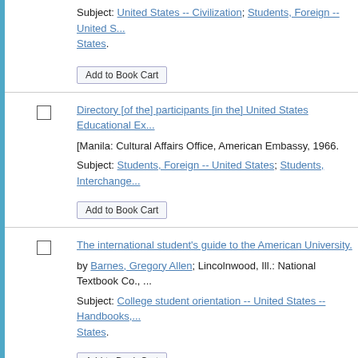Subject: United States -- Civilization; Students, Foreign -- United States.
Add to Book Cart
Directory [of the] participants [in the] United States Educational Ex...
[Manila: Cultural Affairs Office, American Embassy, 1966.
Subject: Students, Foreign -- United States; Students, Interchange...
Add to Book Cart
The international student's guide to the American University.
by Barnes, Gregory Allen; Lincolnwood, Ill.: National Textbook Co., ...
Subject: College student orientation -- United States -- Handbooks, ... States.
Add to Book Cart